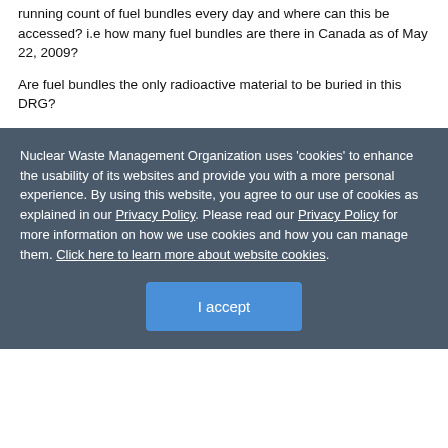running count of fuel bundles every day and where can this be accessed? i.e how many fuel bundles are there in Canada as of May 22, 2009?
Are fuel bundles the only radioactive material to be buried in this DRG?
Nuclear Waste Management Organization uses 'cookies' to enhance the usability of its websites and provide you with a more personal experience. By using this website, you agree to our use of cookies as explained in our Privacy Policy. Please read our Privacy Policy for more information on how we use cookies and how you can manage them. Click here to learn more about website cookies.
I accept